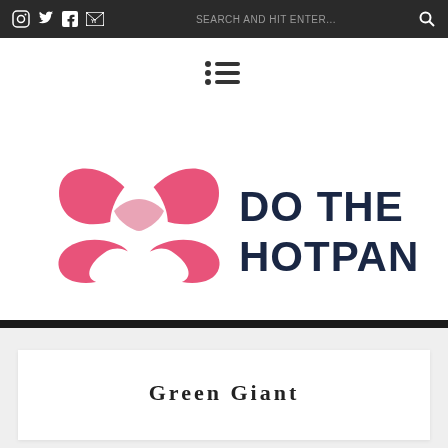SEARCH AND HIT ENTER...
[Figure (logo): Menu/list icon with three dots and lines]
[Figure (logo): Do The Hotpants logo — pink flower/ribbon shape with dark navy text 'DO THE HOTPANTS']
Green Giant